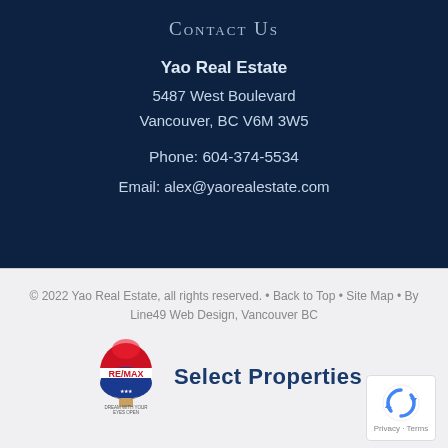Contact Us
Yao Real Estate
5487 West Boulevard
Vancouver, BC V6M 3W5

Phone: 604-374-5534

Email: alex@yaorealestate.com
© 2022 Yao Real Estate, all rights reserved. • Back to Top • Site Map • By Line49 Web Design, Vancouver BC
[Figure (logo): RE/MAX hot air balloon logo with 'DREAM WITH YOUR EYES OPEN' text, followed by 'Select Properties' in bold blue text]
[Figure (other): Google reCAPTCHA badge with Privacy and Terms links]